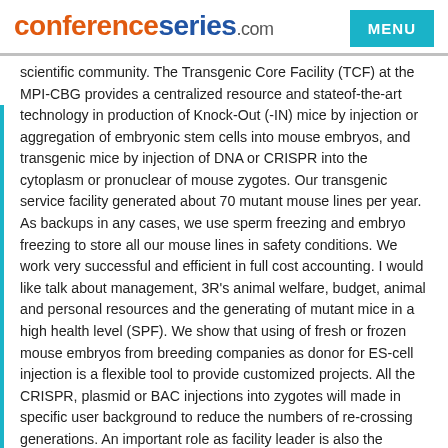conferenceseries.com
scientific community. The Transgenic Core Facility (TCF) at the MPI-CBG provides a centralized resource and stateof-the-art technology in production of Knock-Out (-IN) mice by injection or aggregation of embryonic stem cells into mouse embryos, and transgenic mice by injection of DNA or CRISPR into the cytoplasm or pronuclear of mouse zygotes. Our transgenic service facility generated about 70 mutant mouse lines per year. As backups in any cases, we use sperm freezing and embryo freezing to store all our mouse lines in safety conditions. We work very successful and efficient in full cost accounting. I would like talk about management, 3R's animal welfare, budget, animal and personal resources and the generating of mutant mice in a high health level (SPF). We show that using of fresh or frozen mouse embryos from breeding companies as donor for ES-cell injection is a flexible tool to provide customized projects. All the CRISPR, plasmid or BAC injections into zygotes will made in specific user background to reduce the numbers of re-crossing generations. An important role as facility leader is also the